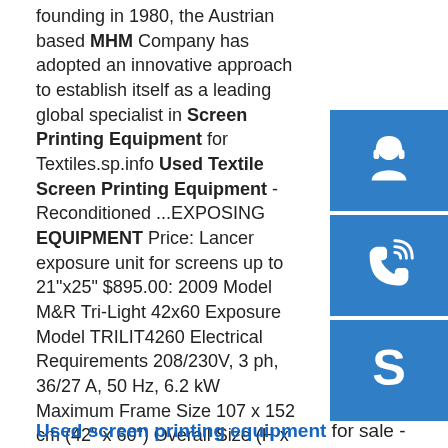founding in 1980, the Austrian based MHM Company has adopted an innovative approach to establish itself as a leading global specialist in Screen Printing Equipment for Textiles.sp.info Used Textile Screen Printing Equipment - Reconditioned ...EXPOSING EQUIPMENT Price: Lancer exposure unit for screens up to 21"x25" $895.00: 2009 Model M&R Tri-Light 42x60 Exposure Model TRILIT4260 Electrical Requirements 208/230V, 3 ph, 36/27 A, 50 Hz, 6.2 kW Maximum Frame Size 107 x 152 cm (42" x 60") Overall Size (H x W x D) 109x190 cm (43"x75"x61") Shipping Weight 517 kg (1140 lb) Vacuum Frame Size 124 x 173 cm (49" x 68")sp.info used screen printing equipment | eBay21 results for used screen printing equipment Save used screen printing equipment to get e-mail alerts and updates on your eBay Feed. Unfollow used screen printing equipment to stop getting updates on your eBay Feed.
[Figure (illustration): Blue sidebar with three icons: headset/customer service, phone/call, and Skype logo]
Used screen printing equipment for sale -